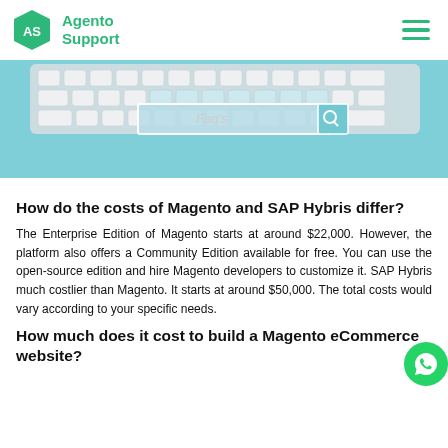Agento Support
[Figure (screenshot): A keyboard on a teal/cyan background with a search bar labeled Faq's in the center]
How do the costs of Magento and SAP Hybris differ?
The Enterprise Edition of Magento starts at around $22,000. However, the platform also offers a Community Edition available for free. You can use the open-source edition and hire Magento developers to customize it. SAP Hybris much costlier than Magento. It starts at around $50,000. The total costs would vary according to your specific needs.
How much does it cost to build a Magento eCommerce website?